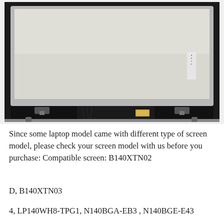[Figure (photo): Laptop LCD screen panel shown from the back, with silver metal frame and black ribbon cable connector at the bottom center, mounted on white background.]
Since some laptop model came with different type of screen model, please check your screen model with us before you purchase: Compatible screen: B140XTN02
D, B140XTN03
4, LP140WH8-TPG1, N140BGA-EB3 , N140BGE-E43